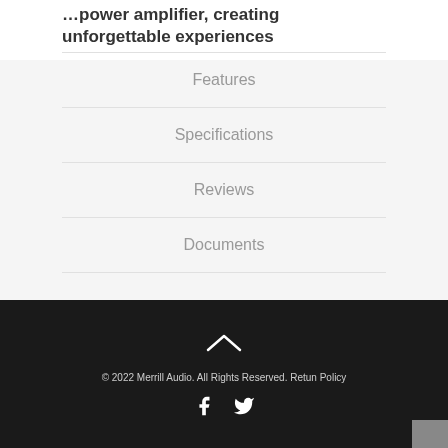...power amplifier, creating unforgettable experiences
Features
Specifications
Reviews
Documents
© 2022 Merrill Audio. All Rights Reserved. Retun Policy